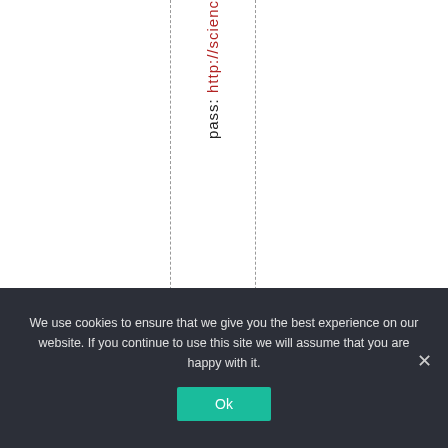pass: http://scienc
We use cookies to ensure that we give you the best experience on our website. If you continue to use this site we will assume that you are happy with it.